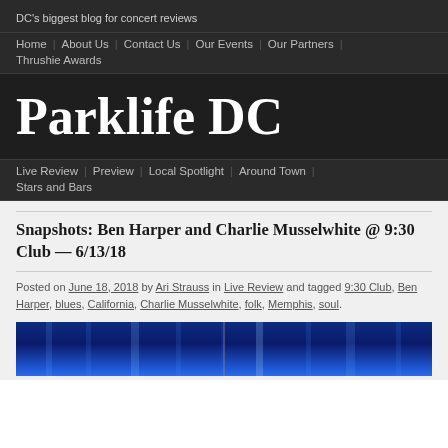DC's biggest blog for concert reviews
Home | About Us | Contact Us | Our Events | Our Partners | Thrushie Awards
Parklife DC
Live Review | Preview | Local Spotlight | Around Town | Stars and Bars
Snapshots: Ben Harper and Charlie Musselwhite @ 9:30 Club — 6/13/18
Posted on June 18, 2018 by Ari Strauss in Live Review and tagged 9:30 Club, Ben Harper, blues, California, Charlie Musselwhite, folk, Memphis, soul.
[Figure (photo): Blue-lit concert stage photo preview]